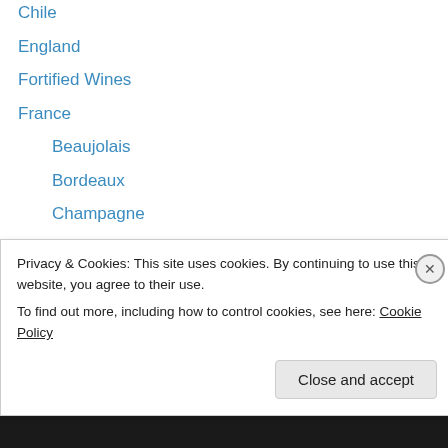Chile
England
Fortified Wines
France
Beaujolais
Bordeaux
Champagne
Rhône
Germany
Italy
Abruzzo
Basilicata
Campania
Emilia Romagna
Privacy & Cookies: This site uses cookies. By continuing to use this website, you agree to their use.
To find out more, including how to control cookies, see here: Cookie Policy
Close and accept